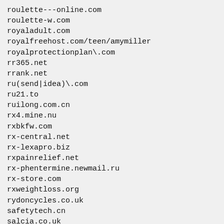roulette---online.com
roulette-w.com
royaladult.com
royalfreehost.com/teen/amymiller
royalprotectionplan\.com
rr365.net
rrank.net
ru(send|idea)\.com
ru21.to
ruilong.com.cn
rx4.mine.nu
rxbkfw.com
rx-central.net
rx-lexapro.biz
rxpainrelief.net
rx-phentermine.newmail.ru
rx-store.com
rxweightloss.org
rydoncycles.co.uk
safetytech.cn
salcia.co.uk
sandrabre.de
sanfernando.to
sanlucar.to
sanpedro.to